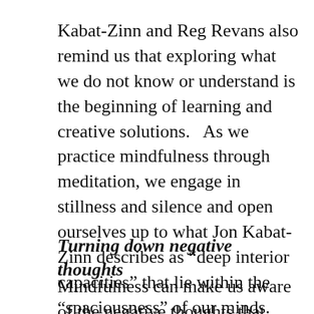Kabat-Zinn and Reg Revans also remind us that exploring what we do not know or understand is the beginning of learning and creative solutions.   As we practice mindfulness through meditation, we engage in stillness and silence and open ourselves up to what Jon Kabat-Zinn describes as “deep interior capacities” that lie within the “spaciousness” of our minds.
Turning down negative thoughts
Mindfulness can make us aware of the negative thoughts that often block creativity and constitute self-sabotage.  Creative people like David Lynch, Amanda Sinclair, Elizabeth